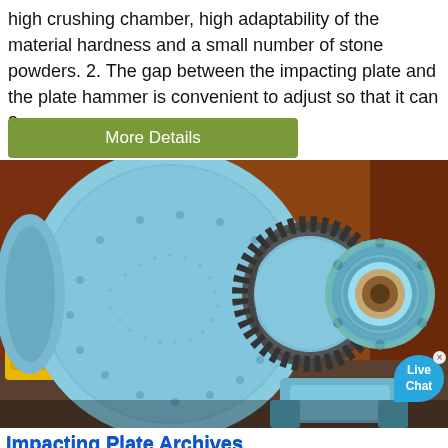high crushing chamber, high adaptability of the material hardness and a small number of stone powders. 2. The gap between the impacting plate and the plate hammer is convenient to adjust so that it can 3.
More Details
[Figure (photo): Large industrial ball mill machine painted light blue with a large ring gear, shown outdoors. The cylindrical grinding drum is prominently visible along with bearing assemblies and support structure.]
Impacting Plate Archives
Impact Crusher Parts Impacting Plate Blow Bar Ball Mill & SAG Mill Mill Liners Engineering Machinery Parts Tooth